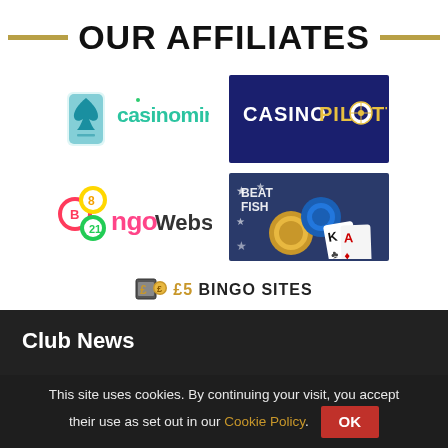OUR AFFILIATES
[Figure (logo): Casinomir logo - teal playing card suit icon with 'casinomir' text in teal]
[Figure (logo): Casino Pilotti logo - dark blue background with white 'CASINO' and yellow 'PILOTTI' text]
[Figure (logo): BingoWebs logo - colorful bingo balls with 'ngoWebs' text]
[Figure (logo): BeatFish logo - photo of poker chips and playing cards with stars background]
[Figure (logo): £5 Bingo Sites logo with coin icon]
Club News
This site uses cookies. By continuing your visit, you accept their use as set out in our Cookie Policy. OK